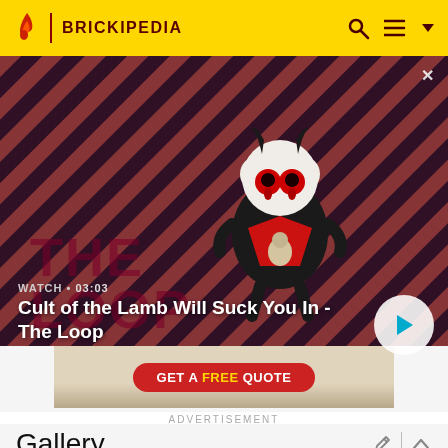BRICKIPEDIA
[Figure (screenshot): Video banner showing Cult of the Lamb character on diagonal striped red/dark background with THE LOOP text overlay]
WATCH • 03:03
Cult of the Lamb Will Suck You In - The Loop
[Figure (photo): Advertisement image with GET A FREE QUOTE button]
ADVERTISEMENT
Gallery